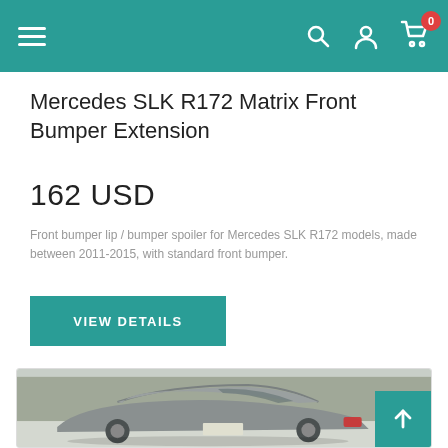Navigation bar with hamburger menu, search icon, account icon, and cart icon with badge showing 0
Mercedes SLK R172 Matrix Front Bumper Extension
162 USD
Front bumper lip / bumper spoiler for Mercedes SLK R172 models, made between 2011-2015, with standard front bumper.
VIEW DETAILS
[Figure (photo): Rear three-quarter view of a grey Mercedes SLK R172 coupe parked on snow, with bare winter trees in the background]